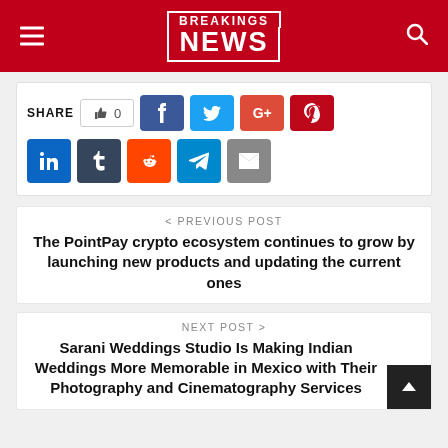BREAKINGS NEWS
[Figure (screenshot): Social share buttons row: thumbs-up like count (0), Facebook, Twitter, Google+, Pinterest, LinkedIn, Tumblr, Reddit, Telegram, Email]
< PREVIOUS POST
The PointPay crypto ecosystem continues to grow by launching new products and updating the current ones
NEXT POST >
Sarani Weddings Studio Is Making Indian Weddings More Memorable in Mexico with Their Photography and Cinematography Services